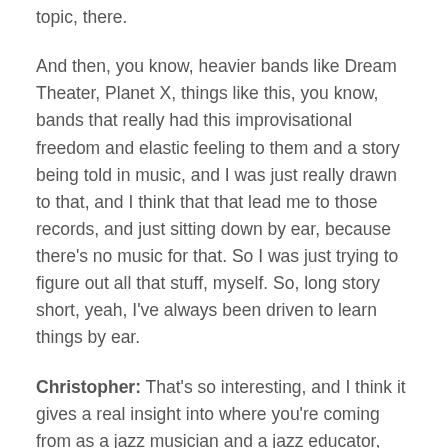topic, there.
And then, you know, heavier bands like Dream Theater, Planet X, things like this, you know, bands that really had this improvisational freedom and elastic feeling to them and a story being told in music, and I was just really drawn to that, and I think that that lead me to those records, and just sitting down by ear, because there's no music for that. So I was just trying to figure out all that stuff, myself. So, long story short, yeah, I've always been driven to learn things by ear.
Christopher: That's so interesting, and I think it gives a real insight into where you're coming from as a jazz musician and a jazz educator, because I think a lot of people in our audience